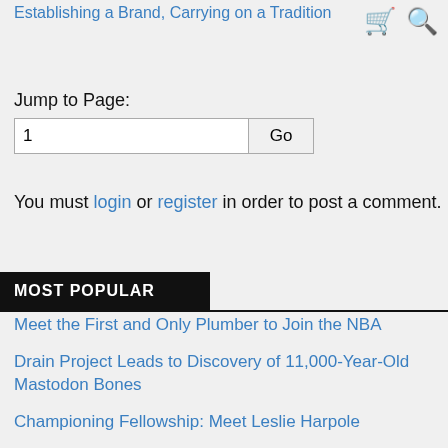Establishing a Brand, Carrying on a Tradition
Jump to Page:
1
Go
You must login or register in order to post a comment.
MOST POPULAR
Meet the First and Only Plumber to Join the NBA
Drain Project Leads to Discovery of 11,000-Year-Old Mastodon Bones
Championing Fellowship: Meet Leslie Harpole
Ashland City Leaders, A. O. Smith Celebrate Completion of